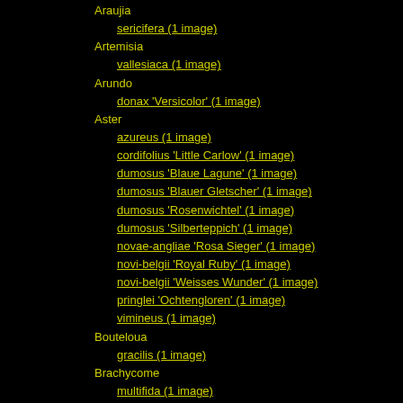Araujia
sericifera (1 image)
Artemisia
vallesiaca (1 image)
Arundo
donax 'Versicolor' (1 image)
Aster
azureus (1 image)
cordifolius 'Little Carlow' (1 image)
dumosus 'Blaue Lagune' (1 image)
dumosus 'Blauer Gletscher' (1 image)
dumosus 'Rosenwichtel' (1 image)
dumosus 'Silberteppich' (1 image)
novae-angliae 'Rosa Sieger' (1 image)
novi-belgii 'Royal Ruby' (1 image)
novi-belgii 'Weisses Wunder' (1 image)
pringlei 'Ochtengloren' (1 image)
vimineus (1 image)
Bouteloua
gracilis (1 image)
Brachycome
multifida (1 image)
Broussonetia
papyrifera (1 image)
Caryopteris
incana (2 images)
Ceanothus
pallidus 'Marie Simon' (1 image)
Celastrus
scandens (1 image)
Chamaecyparis
nootkatensis 'Pendula' (1 image)
Chrysopsis
spec. 'Sunnyshine' (1 image)
Clematis
terniflora (1 image)
virginiana (1 image)
Coccinia
grandis (1 image)
Cocculus
orbiculatus (1 image)